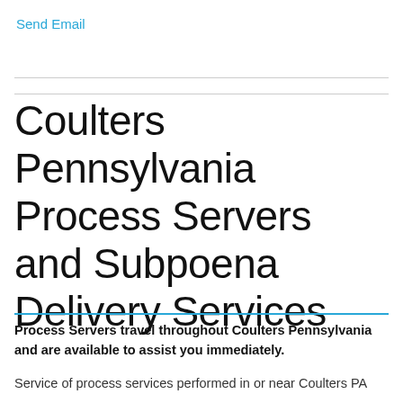Send Email
Coulters Pennsylvania Process Servers and Subpoena Delivery Services
Process Servers travel throughout Coulters Pennsylvania and are available to assist you immediately.
Service of process services performed in or near Coulters PA